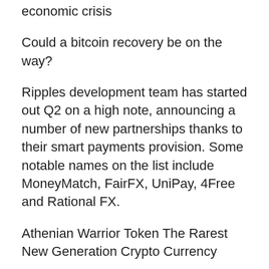economic crisis
Could a bitcoin recovery be on the way?
Ripples development team has started out Q2 on a high note, announcing a number of new partnerships thanks to their smart payments provision. Some notable names on the list include MoneyMatch, FairFX, UniPay, 4Free and Rational FX.
Athenian Warrior Token The Rarest New Generation Crypto Currency
Ripple is also set to host the first ever Blockchain Week New York in May, a VIP gathering which will feature among others, rapper Snoop Dogg on a live music performance.
Past, present and future trends on Ripple market